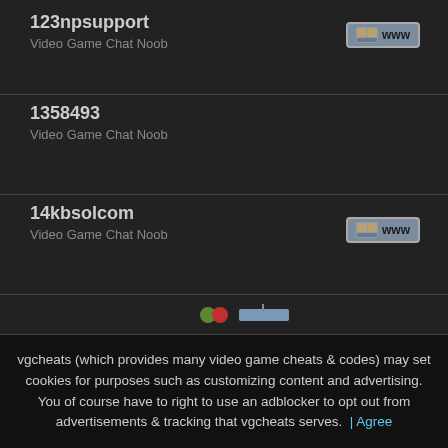123npsupport
Video Game Chat Noob
1358493
Video Game Chat Noob
14kbsolcom
Video Game Chat Noob
16sziszi
Video Game Chat Noob
vgcheats (which provides many video game cheats & codes) may set cookies for purposes such as customizing content and advertising. You of course have to right to use an adblocker to opt out from advertisements & tracking that vgcheats serves. | Agree